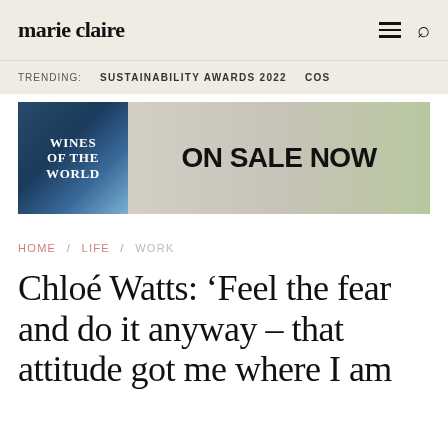marie claire
TRENDING:  SUSTAINABILITY AWARDS 2022  COS
[Figure (photo): Advertisement banner for 'Wines of the World' publication with text 'ON SALE NOW']
HOME / LIFE / WORK
Chloé Watts: ‘Feel the fear and do it anyway – that attitude got me where I am